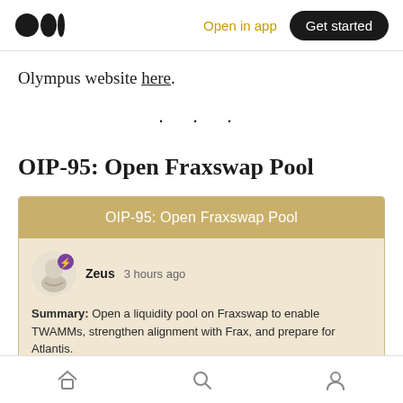Open in app | Get started
Olympus website here.
· · ·
OIP-95: Open Fraxswap Pool
[Figure (screenshot): A forum/governance card showing OIP-95: Open Fraxswap Pool posted by Zeus 3 hours ago. Summary: Open a liquidity pool on Fraxswap to enable TWAMMs, strengthen alignment with Frax, and prepare for Atlantis. Background: Olympus has a liquidity presence on Sushiswap, Uniswap, Balancer, and Curve. The protocol provides more than]
Home | Search | Profile